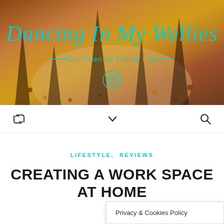[Figure (photo): Blog header image showing shadows of a family on an autumn path with fallen leaves, warm earthy tones]
Dancing In My Wellies
Eco-Friendly Family Life
Navigation bar with retweet icon, dropdown chevron, and search icon
LIFESTYLE, REVIEWS
CREATING A WORK SPACE AT HOME
Privacy & Cookies Policy